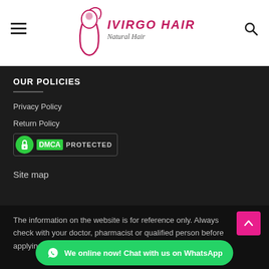[Figure (logo): iVirgo Hair Natural Hair brand logo with woman silhouette icon in pink/magenta]
OUR POLICIES
Privacy Policy
Return Policy
[Figure (logo): DMCA Protected badge with green circle lock icon]
Site map
The information on the website is for reference only. Always check with your doctor, pharmacist or qualified person before applying
[Figure (other): WhatsApp chat button: We online now! Chat with us on WhatsApp]